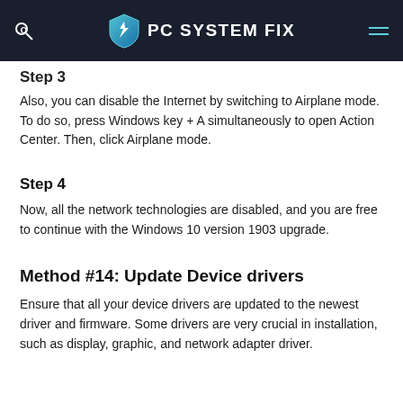PC SYSTEM FIX
Step 3
Also, you can disable the Internet by switching to Airplane mode. To do so, press Windows key + A simultaneously to open Action Center. Then, click Airplane mode.
Step 4
Now, all the network technologies are disabled, and you are free to continue with the Windows 10 version 1903 upgrade.
Method #14: Update Device drivers
Ensure that all your device drivers are updated to the newest driver and firmware. Some drivers are very crucial in installation, such as display, graphic, and network adapter driver.